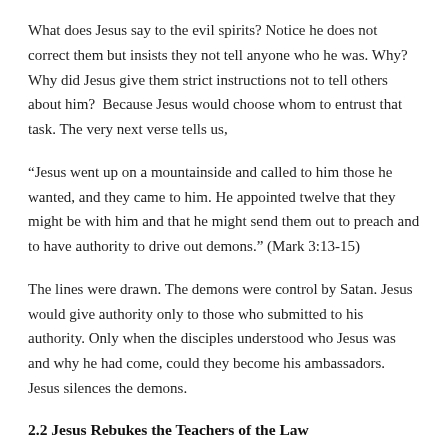What does Jesus say to the evil spirits? Notice he does not correct them but insists they not tell anyone who he was. Why?  Why did Jesus give them strict instructions not to tell others about him?  Because Jesus would choose whom to entrust that task. The very next verse tells us,
“Jesus went up on a mountainside and called to him those he wanted, and they came to him. He appointed twelve that they might be with him and that he might send them out to preach and to have authority to drive out demons.” (Mark 3:13-15)
The lines were drawn. The demons were control by Satan. Jesus would give authority only to those who submitted to his authority. Only when the disciples understood who Jesus was and why he had come, could they become his ambassadors. Jesus silences the demons.
2.2 Jesus Rebukes the Teachers of the Law